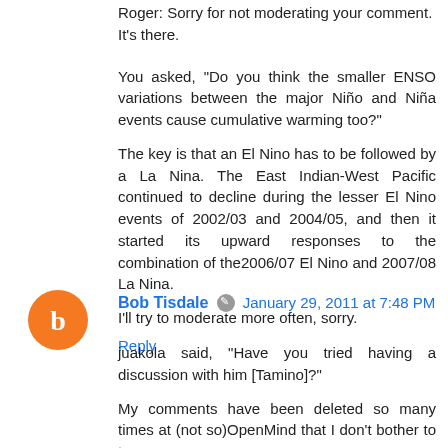Roger: Sorry for not moderating your comment. It's there.
You asked, "Do you think the smaller ENSO variations between the major Niño and Niña events cause cumulative warming too?"
The key is that an El Nino has to be followed by a La Nina. The East Indian-West Pacific continued to decline during the lesser El Nino events of 2002/03 and 2004/05, and then it started its upward responses to the combination of the2006/07 El Nino and 2007/08 La Nina.
I'll try to moderate more often, sorry.
Reply
Bob Tisdale  January 29, 2011 at 7:48 PM
juakola said, "Have you tried having a discussion with him [Tamino]?"
My comments have been deleted so many times at (not so)OpenMind that I don't bother to try anymore.